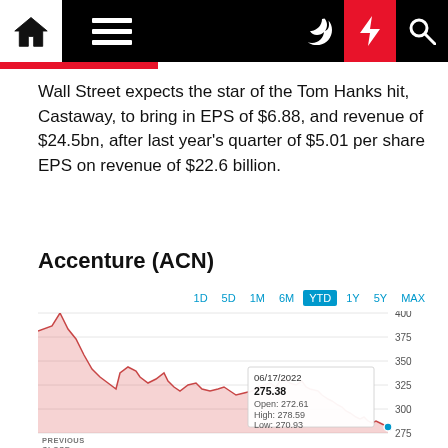Navigation bar with home, menu, dark mode, lightning, search icons
Wall Street expects the star of the Tom Hanks hit, Castaway, to bring in EPS of $6.88, and revenue of $24.5bn, after last year's quarter of $5.01 per share EPS on revenue of $22.6 billion.
Accenture (ACN)
[Figure (line-chart): Area/line chart showing Accenture (ACN) stock price year-to-date. Price starts near 400, peaks early then trends down to ~275 range. A tooltip shows 06/17/2022: 275.38, Open: 272.61, High: 278.59, Low: 270.93. Y-axis labels: 275, 300, 325, 350, 375, 400. Time range tabs: 1D, 5D, 1M, 6M, YTD (selected), 1Y, 5Y, MAX. Previous Close label visible at bottom left.]